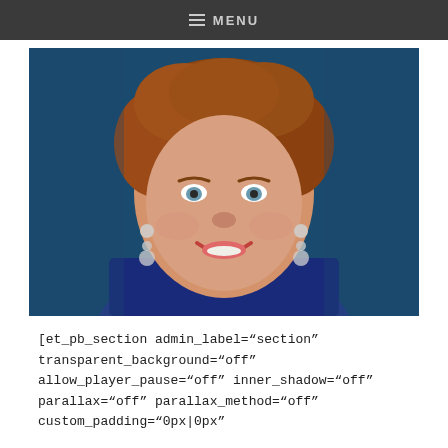≡ MENU
[Figure (photo): Headshot portrait of a middle-aged woman with curly reddish-brown hair, blue eyes, wearing diamond drop earrings and a blue top, posed against a dark blue background.]
[et_pb_section admin_label="section" transparent_background="off" allow_player_pause="off" inner_shadow="off" parallax="off" parallax_method="off" custom_padding="0px|0px"